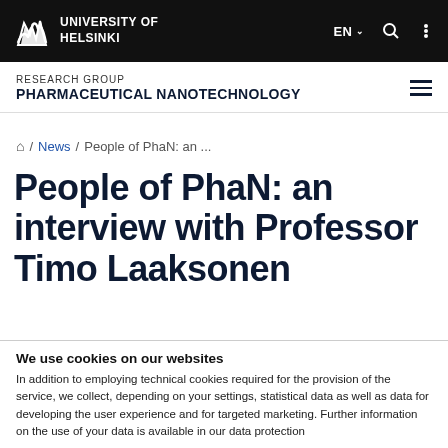UNIVERSITY OF HELSINKI
RESEARCH GROUP
PHARMACEUTICAL NANOTECHNOLOGY
/ News / People of PhaN: an ...
People of PhaN: an interview with Professor Timo Laaksonen
Interview series of the Pharmaceutical
We use cookies on our websites
In addition to employing technical cookies required for the provision of the service, we collect, depending on your settings, statistical data as well as data for developing the user experience and for targeted marketing. Further information on the use of your data is available in our data protection